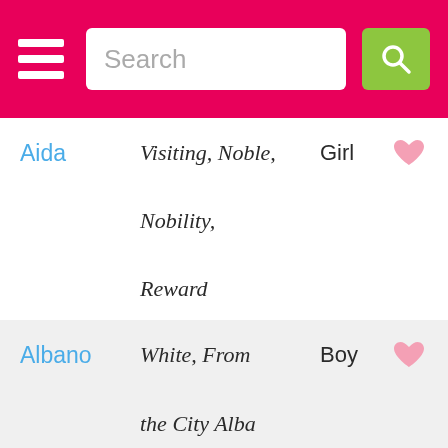Search
| Name | Meaning | Gender | Favorite |
| --- | --- | --- | --- |
| Aida | Visiting, Noble, Nobility, Reward | Girl | ♥ |
| Albano | White, From the City Alba | Boy | ♥ |
| Alberta | Noble and Bright | Girl | ♥ |
| Alberto | High-born, | Boy | ♥ |